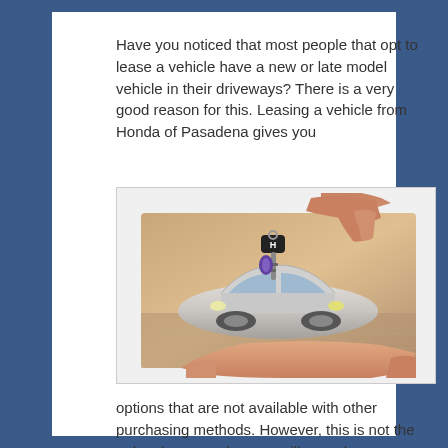Have you noticed that most people that opt to lease a vehicle have a new or late model vehicle in their driveways? There is a very good reason for this. Leasing a vehicle from Honda of Pasadena gives you
[Figure (photo): A photo composite showing two hands — one hand from above holding a Honda car key, and one hand from below holding a silver Honda sedan car. The car key is dangling over the car, suggesting a car lease handover.]
options that are not available with other purchasing methods. However, this is not the only advantage that you will see when you lease your next vehicle.